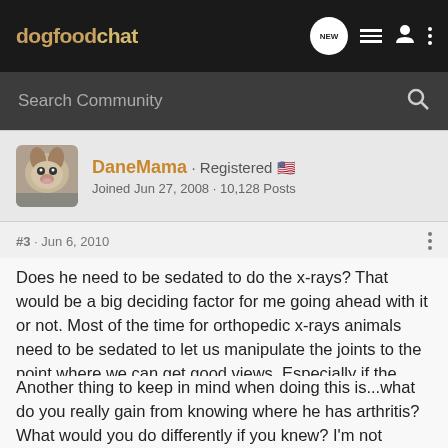dogfoodchat
Search Community
[Figure (photo): Avatar photo of a dog (Great Dane), small square thumbnail]
DaneMama · Registered 🇺🇸
Joined Jun 27, 2008 · 10,128 Posts
#3 · Jun 6, 2010
Does he need to be sedated to do the x-rays? That would be a big deciding factor for me going ahead with it or not. Most of the time for orthopedic x-rays animals need to be sedated to let us manipulate the joints to the point where we can get good views. Especially if the animal is painful at all.
Another thing to keep in mind when doing this is...what do you really gain from knowing where he has arthritis? What would you do differently if you knew? I'm not saying don't find out, but just to put the question of cost vs. illness ahead as a concern.